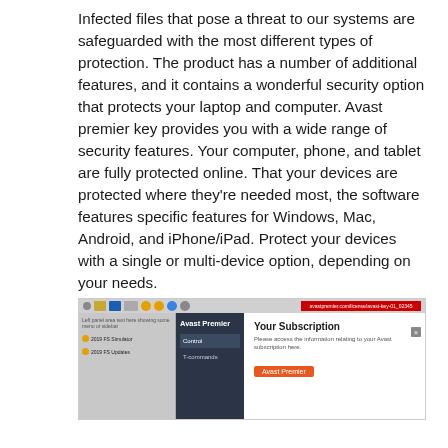Infected files that pose a threat to our systems are safeguarded with the most different types of protection. The product has a number of additional features, and it contains a wonderful security option that protects your laptop and computer. Avast premier key provides you with a wide range of security features. Your computer, phone, and tablet are fully protected online. That your devices are protected where they're needed most, the software features specific features for Windows, Mac, Android, and iPhone/iPad. Protect your devices with a single or multi-device option, depending on your needs.
[Figure (screenshot): Screenshot of Avast Premier application window showing 'Your Subscription' panel with 'Avast Premier' label visible, dark blue sidebar with navigation items, and a red bar at the top of the browser/window.]